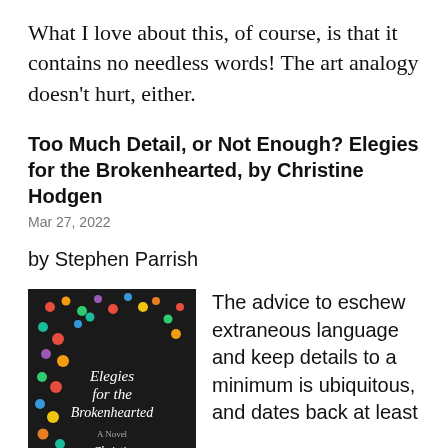What I love about this, of course, is that it contains no needless words! The art analogy doesn't hurt, either.
Too Much Detail, or Not Enough? Elegies for the Brokenhearted, by Christine Hodgen
Mar 27, 2022
by Stephen Parrish
[Figure (photo): Book cover of 'Elegies for the Brokenhearted' by Christie Hodgen. Black background with colorful confetti dots. Text reads: Elegies for the Brokenhearted, A Novel, Christie Hodgen]
The advice to eschew extraneous language and keep details to a minimum is ubiquitous, and dates back at least